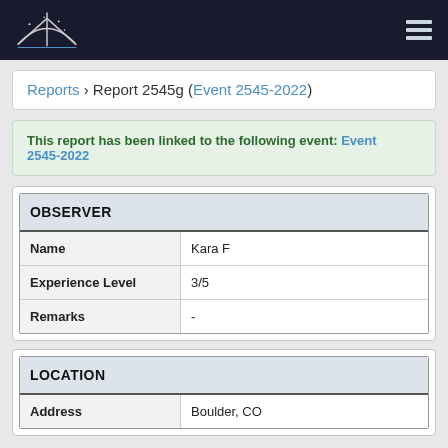American Meteor Society (logo) — navigation menu
Reports › Report 2545g (Event 2545-2022)
This report has been linked to the following event: Event 2545-2022
| OBSERVER |  |
| --- | --- |
| Name | Kara F |
| Experience Level | 3/5 |
| Remarks | - |
| LOCATION |  |
| --- | --- |
| Address | Boulder, CO |